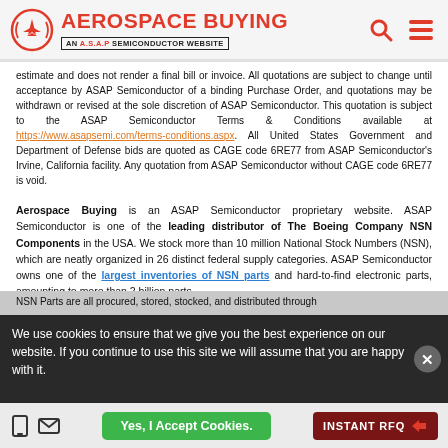AEROSPACE BUYING — AN A.S.A.P SEMICONDUCTOR WEBSITE
estimate and does not render a final bill or invoice. All quotations are subject to change until acceptance by ASAP Semiconductor of a binding Purchase Order, and quotations may be withdrawn or revised at the sole discretion of ASAP Semiconductor. This quotation is subject to the ASAP Semiconductor Terms & Conditions available at https://www.asapsemi.com/terms-conditions.aspx. All United States Government and Department of Defense bids are quoted as CAGE code 6RE77 from ASAP Semiconductor's Irvine, California facility. Any quotation from ASAP Semiconductor without CAGE code 6RE77 is void.
Aerospace Buying is an ASAP Semiconductor proprietary website. ASAP Semiconductor is one of the leading distributor of The Boeing Company NSN Components in the USA. We stock more than 10 million National Stock Numbers (NSN), which are neatly organized in 26 distinct federal supply categories. ASAP Semiconductor owns one of the largest inventories of NSN parts and hard-to-find electronic parts, amounting to more than 2 billion parts.
NSN Parts are all procured, stored, stocked, and distributed through
We use cookies to ensure that we give you the best experience on our website. If you continue to use this site we will assume that you are happy with it.
Yes, I Accept Cookies.
INSTANT RFQ